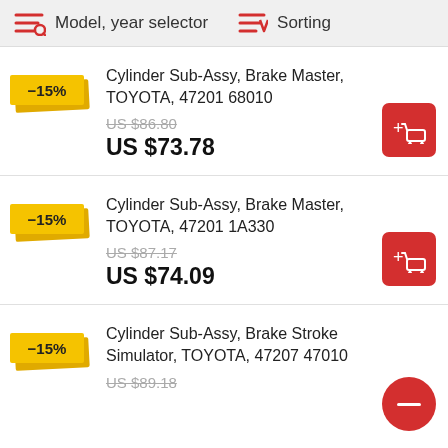Model, year selector   Sorting
Cylinder Sub-Assy, Brake Master, TOYOTA, 47201 68010 | US $86.80 | US $73.78 | -15%
Cylinder Sub-Assy, Brake Master, TOYOTA, 47201 1A330 | US $87.17 | US $74.09 | -15%
Cylinder Sub-Assy, Brake Stroke Simulator, TOYOTA, 47207 47010 | US $89.18 | -15%